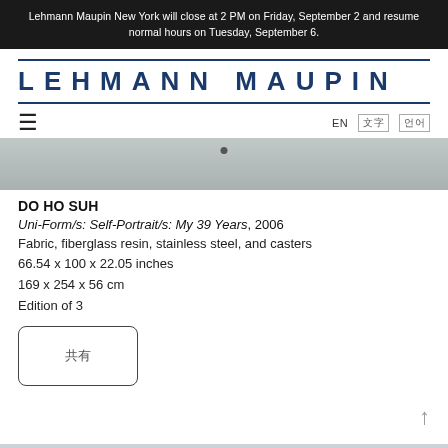Lehmann Maupin New York will close at 2 PM on Friday, September 2 and resume normal hours on Tuesday, September 6.
[Figure (logo): Lehmann Maupin gallery logo — bold blue letters spelling LEHMANN MAUPIN with wide letter spacing, framed by double horizontal rules]
[Figure (photo): Top portion of an artwork photograph showing a grey wall/surface with a small dark dot/hook visible at the top center]
DO HO SUH
Uni-Form/s: Self-Portrait/s: My 39 Years, 2006
Fabric, fiberglass resin, stainless steel, and casters
66.54 x 100 x 22.05 inches
169 x 254 x 56 cm
Edition of 3
[Figure (other): Share button with rounded rectangle border containing a share icon (two squares with Chinese/Japanese characters)]
[Figure (photo): Bottom portion of a gallery interior photograph showing ceiling with track lighting and a colorful artwork partially visible]